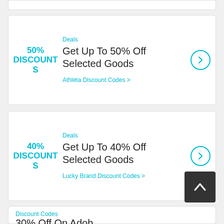50% DISCOUNTS
Deals
Get Up To 50% Off Selected Goods
Athleta Discount Codes >
40% DISCOUNTS
Deals
Get Up To 40% Off Selected Goods
Lucky Brand Discount Codes >
Discount Codes
30% Off On Adob...